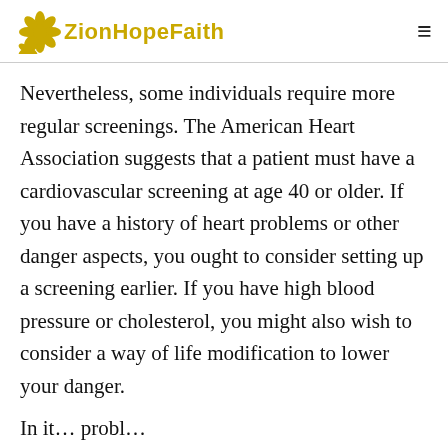ZionHopeFaith
Nevertheless, some individuals require more regular screenings. The American Heart Association suggests that a patient must have a cardiovascular screening at age 40 or older. If you have a history of heart problems or other danger aspects, you ought to consider setting up a screening earlier. If you have high blood pressure or cholesterol, you might also wish to consider a way of life modification to lower your danger.
In it ... probl...